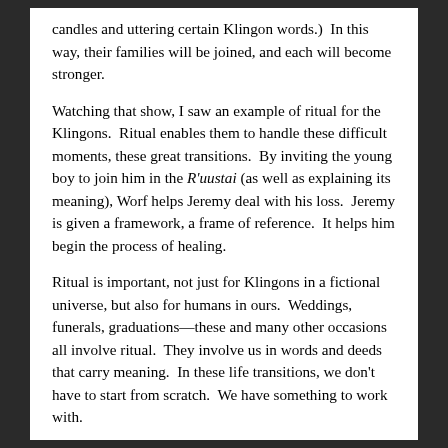candles and uttering certain Klingon words.)  In this way, their families will be joined, and each will become stronger.
Watching that show, I saw an example of ritual for the Klingons.  Ritual enables them to handle these difficult moments, these great transitions.  By inviting the young boy to join him in the R'uustai (as well as explaining its meaning), Worf helps Jeremy deal with his loss.  Jeremy is given a framework, a frame of reference.  It helps him begin the process of healing.
Ritual is important, not just for Klingons in a fictional universe, but also for humans in ours.  Weddings, funerals, graduations—these and many other occasions all involve ritual.  They involve us in words and deeds that carry meaning.  In these life transitions, we don't have to start from scratch.  We have something to work with.